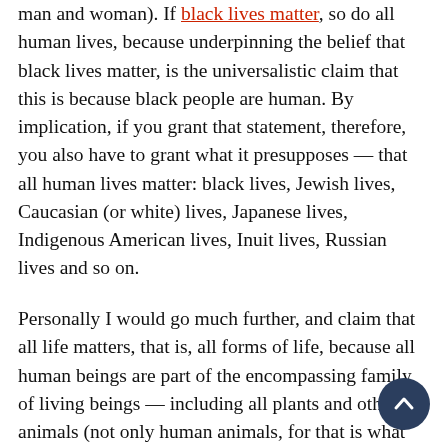man and woman). If black lives matter, so do all human lives, because underpinning the belief that black lives matter, is the universalistic claim that this is because black people are human. By implication, if you grant that statement, therefore, you also have to grant what it presupposes — that all human lives matter: black lives, Jewish lives, Caucasian (or white) lives, Japanese lives, Indigenous American lives, Inuit lives, Russian lives and so on.
Personally I would go much further, and claim that all life matters, that is, all forms of life, because all human beings are part of the encompassing family of living beings — including all plants and other animals (not only human animals, for that is what we are). If you disagree with this, use the